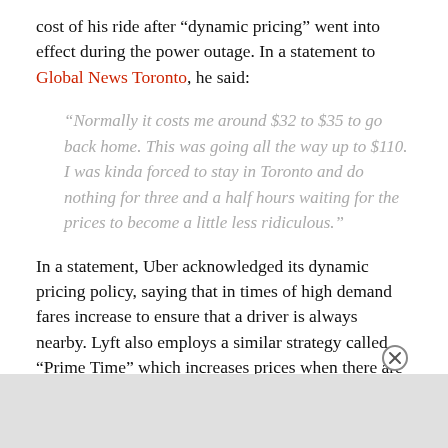cost of his ride after “dynamic pricing” went into effect during the power outage. In a statement to Global News Toronto, he said:
“Normally it costs me around $32 to $35 to go back home. This was going all the way up to $110. I was kinda forced to stay in Toronto and do nothing for three and a half hours waiting for the prices to become a little less ridiculous.”
In a statement, Uber acknowledged its dynamic pricing policy, saying that in times of high demand fares increase to ensure that a driver is always nearby. Lyft also employs a similar strategy called “Prime Time” which increases prices when there are more ride requests than available drivers.
Unfortunately, there is not really much that computers can d… r condi… if a